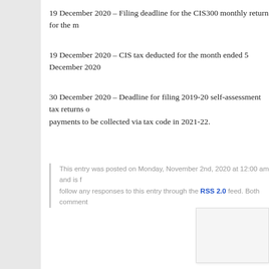19 December 2020 – Filing deadline for the CIS300 monthly return for the m
19 December 2020 – CIS tax deducted for the month ended 5 December 2020
30 December 2020 – Deadline for filing 2019-20 self-assessment tax returns online if you want any underpayments to be collected via tax code in 2021-22.
This entry was posted on Monday, November 2nd, 2020 at 12:00 am and is filed under... You can follow any responses to this entry through the RSS 2.0 feed. Both comments...